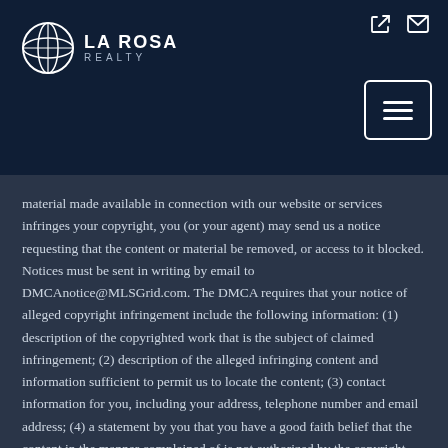[Figure (logo): La Rosa Realty logo with circular globe/baseball icon and text LA ROSA REALTY]
material made available in connection with our website or services infringes your copyright, you (or your agent) may send us a notice requesting that the content or material be removed, or access to it blocked. Notices must be sent in writing by email to DMCAnotice@MLSGrid.com. The DMCA requires that your notice of alleged copyright infringement include the following information: (1) description of the copyrighted work that is the subject of claimed infringement; (2) description of the alleged infringing content and information sufficient to permit us to locate the content; (3) contact information for you, including your address, telephone number and email address; (4) a statement by you that you have a good faith belief that the content in the manner complained of is not authorized by the copyright owner,